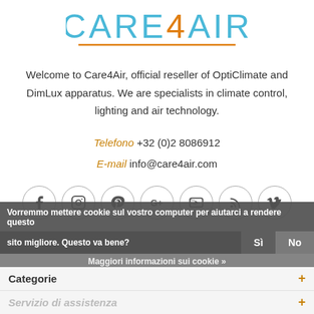[Figure (logo): Care4Air logo with blue/cyan text and orange underline]
Welcome to Care4Air, official reseller of OptiClimate and DimLux apparatus. We are specialists in climate control, lighting and air technology.
Telefono +32 (0)2 8086912
E-mail info@care4air.com
[Figure (infographic): Row of 7 social media circular icons: Facebook, Instagram, Pinterest, Google+, YouTube, RSS, Vimeo]
Vorremmo mettere cookie sul vostro computer per aiutarci a rendere questo sito migliore. Questo va bene?
Categorie
Servizio di assistenza